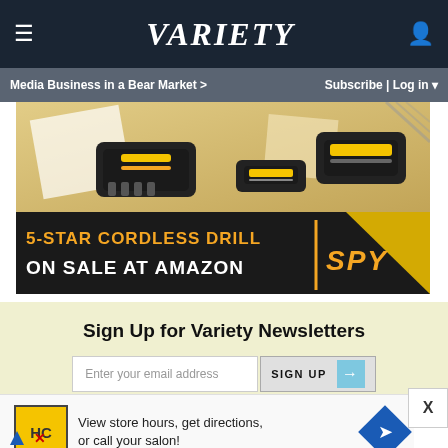Variety — Media Business in a Bear Market > | Subscribe | Log in
[Figure (photo): Advertisement for 5-Star Cordless Drill on sale at Amazon, featuring DeWalt power tools (drill, charger, batteries) on a yellow/tan background with black banner and SPY logo]
Sign Up for Variety Newsletters
Enter your email address  SIGN UP →
[Figure (other): Advertisement banner: HC salon logo, text 'View store hours, get directions, or call your salon!' with blue diamond navigation icon, and ad label arrows/X below]